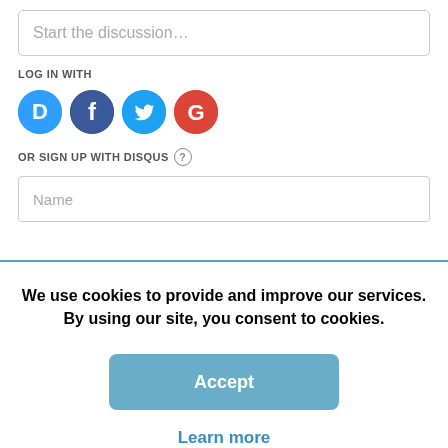Start the discussion…
LOG IN WITH
[Figure (illustration): Social login icons: Disqus (blue speech bubble with D), Facebook (dark blue circle with f), Twitter (light blue circle with bird), Google (red circle with G)]
OR SIGN UP WITH DISQUS ?
Name
We use cookies to provide and improve our services. By using our site, you consent to cookies.
Accept
Learn more